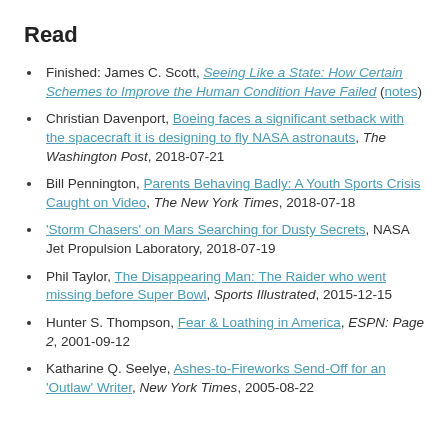Read
Finished: James C. Scott, Seeing Like a State: How Certain Schemes to Improve the Human Condition Have Failed (notes)
Christian Davenport, Boeing faces a significant setback with the spacecraft it is designing to fly NASA astronauts, The Washington Post, 2018-07-21
Bill Pennington, Parents Behaving Badly: A Youth Sports Crisis Caught on Video, The New York Times, 2018-07-18
'Storm Chasers' on Mars Searching for Dusty Secrets, NASA Jet Propulsion Laboratory, 2018-07-19
Phil Taylor, The Disappearing Man: The Raider who went missing before Super Bowl, Sports Illustrated, 2015-12-15
Hunter S. Thompson, Fear & Loathing in America, ESPN: Page 2, 2001-09-12
Katharine Q. Seelye, Ashes-to-Fireworks Send-Off for an 'Outlaw' Writer, New York Times, 2005-08-22